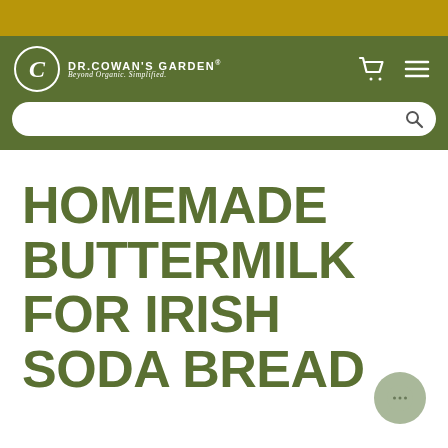[Figure (screenshot): Gold top bar decorative banner]
DR.COWAN'S GARDEN® Beyond Organic. Simplified.
HOMEMADE BUTTERMILK FOR IRISH SODA BREAD